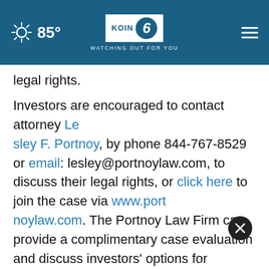KOIN 6 CBS — WATCHING OUT FOR YOU | 85°
legal rights.
Investors are encouraged to contact attorney Lesley F. Portnoy, by phone 844-767-8529 or email: lesley@portnoylaw.com, to discuss their legal rights, or click here to join the case via www.portnoylaw.com. The Portnoy Law Firm can provide a complimentary case evaluation and discuss investors' options for pursuing claims to recover their losses.
According to the lawsuit, defendants